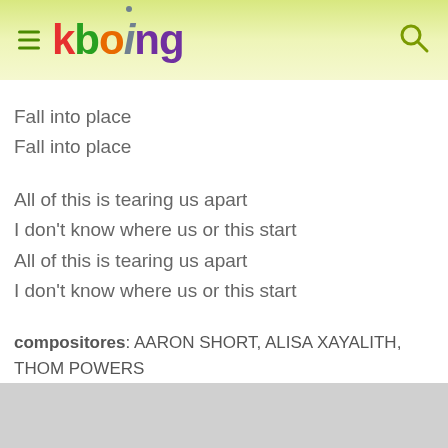kboing
Fall into place
Fall into place
All of this is tearing us apart
I don't know where us or this start
All of this is tearing us apart
I don't know where us or this start
compositores: AARON SHORT, ALISA XAYALITH, THOM POWERS